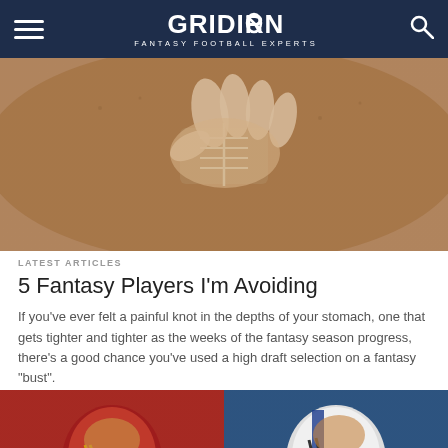GRIDIRON FANTASY FOOTBALL EXPERTS
[Figure (photo): Close-up of an American football being gripped by a hand, showing the laces and textured surface of the ball]
LATEST ARTICLES
5 Fantasy Players I'm Avoiding
If you've ever felt a painful knot in the depths of your stomach, one that gets tighter and tighter as the weeks of the fantasy season progress, there's a good chance you've used a high draft selection on a fantasy "bust".
[Figure (photo): Two NFL player photos side by side: left shows a Washington Redskins player in a burgundy helmet, right shows an Indianapolis Colts player in a white helmet]